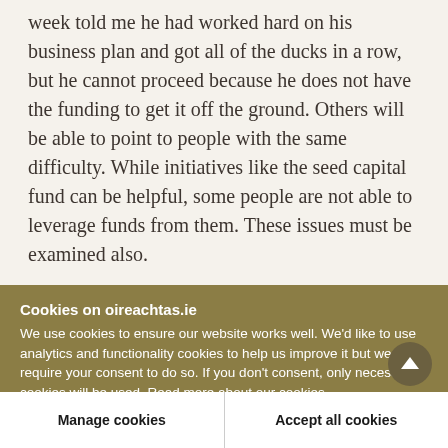week told me he had worked hard on his business plan and got all of the ducks in a row, but he cannot proceed because he does not have the funding to get it off the ground. Others will be able to point to people with the same difficulty. While initiatives like the seed capital fund can be helpful, some people are not able to leverage funds from them. These issues must be examined also.
Every business has concerns about the banking system. It remains incredibly difficult to get finance
Cookies on oireachtas.ie
We use cookies to ensure our website works well. We'd like to use analytics and functionality cookies to help us improve it but we require your consent to do so. If you don't consent, only necessary cookies will be used. Read more about our cookies
Manage cookies
Accept all cookies